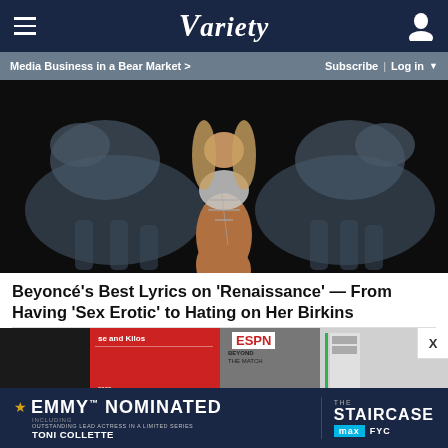Variety
Media Business in a Bear Market > | Subscribe | Log in
[Figure (photo): Beyoncé posing in a silver chainmail outfit surrounded by large translucent horse sculptures on a dark background]
Beyoncé's Best Lyrics on 'Renaissance' — From Having 'Sex Erotic' to Hating on Her Birkins
[Figure (photo): Second article preview image showing ESPN signage and a person]
[Figure (infographic): Advertisement banner: Emmy Nominated including Outstanding Lead Actress in a Limited Series Toni Collette — The Staircase, Max FYC]